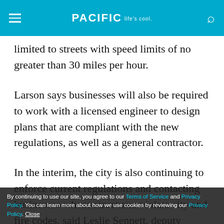PACIFIC Life's cool.
limited to streets with speed limits of no greater than 30 miles per hour.
Larson says businesses will also be required to work with a licensed engineer to design plans that are compliant with the new regulations, as well as a general contractor.
In the interim, the city is also continuing to enforce current regulations and contacting businesses whose structures violate city and fire codes, said Leslie Sennett, deputy director of the city's code enforcement division. These violations include overhead coverings
By continuing to use our site, you agree to our Terms of Service and Privacy Policy. You can learn more about how we use cookies by reviewing our Privacy Policy. Close